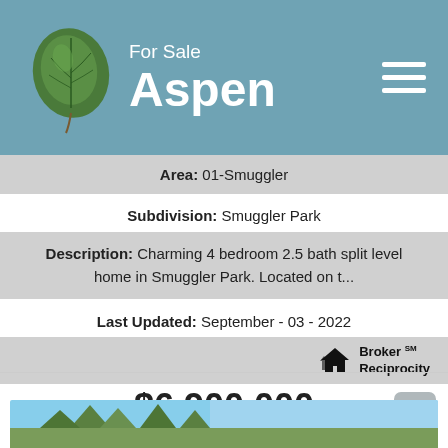For Sale Aspen
Area: 01-Smuggler
Subdivision: Smuggler Park
Description: Charming 4 bedroom 2.5 bath split level home in Smuggler Park. Located on t...
Last Updated: September - 03 - 2022
[Figure (logo): Broker Reciprocity logo with house icon]
$6,900,000
9676 Castle Creek Road
Aspen, CO 81611
[Figure (photo): Partial photo of property with trees and blue sky visible at bottom of page]